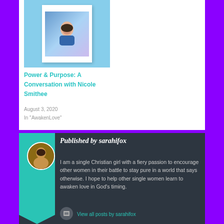[Figure (photo): Polaroid-style photo of a woman against a light blue background]
Power & Purpose: A Conversation with Nicole Smithee
August 3, 2020
In "AwakenLove"
Published by sarahifox
I am a single Christian girl with a fiery passion to encourage other women in their battle to stay pure in a world that says otherwise. I hope to help other single women learn to awaken love in God's timing.
View all posts by sarahifox